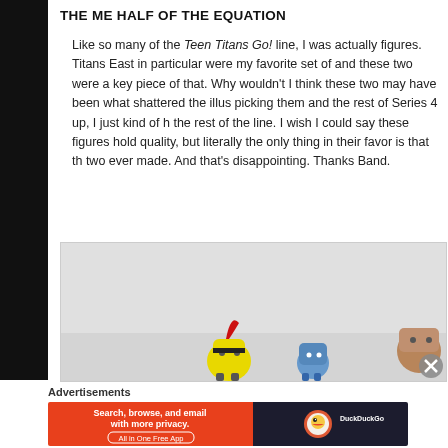THE ME HALF OF THE EQUATION
Like so many of the Teen Titans Go! line, I was actually figures. Titans East in particular were my favorite set of and these two were a key piece of that. Why wouldn't I think these two may have been what shattered the illus picking them and the rest of Series 4 up, I just kind of h the rest of the line. I wish I could say these figures hold quality, but literally the only thing in their favor is that th two ever made. And that's disappointing. Thanks Band.
[Figure (photo): Photo of toy action figures including a yellow bee-like character with red crest, a blue figure, and a brown figure, arranged on a light gray background.]
Advertisements
[Figure (screenshot): DuckDuckGo advertisement banner: orange left panel with 'Search, browse, and email with more privacy. All in One Free App', dark right panel with DuckDuckGo logo.]